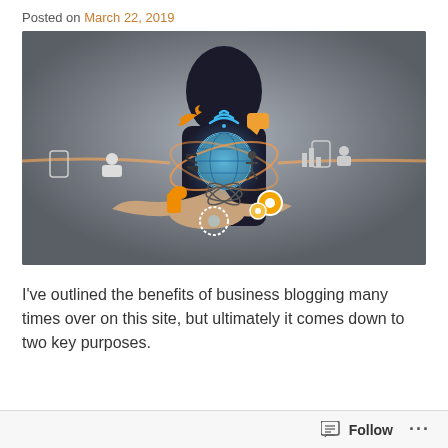Posted on March 22, 2019
[Figure (photo): A person in a suit holding out their hand with digital social media and business icons floating above it, including Wi-Fi, Twitter bird, thumbs up, gears, people, globe, camera, and connectivity symbols in orange, blue, and white tones against a blurred dark background.]
I've outlined the benefits of business blogging many times over on this site, but ultimately it comes down to two key purposes.
Follow ...